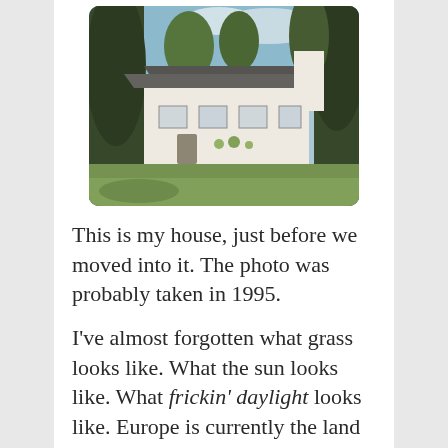[Figure (photo): Photograph of a white cottage-style house with a thatched or dark slate roof, surrounded by tall dark green trees and a green lawn in the foreground. A gravel driveway is visible. The photo has rounded corners and appears to be from the mid-1990s.]
This is my house, just before we moved into it. The photo was probably taken in 1995.
I've almost forgotten what grass looks like. What the sun looks like. What frickin' daylight looks like. Europe is currently the land of